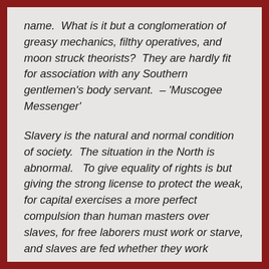name.  What is it but a conglomeration of greasy mechanics, filthy operatives, and moon struck theorists?  They are hardly fit for association with any Southern gentlemen's body servant.  – 'Muscogee Messenger'
Slavery is the natural and normal condition of society.  The situation in the North is abnormal.   To give equality of rights is but giving the strong license to protect the weak, for capital exercises a more perfect compulsion than human masters over slaves, for free laborers must work or starve, and slaves are fed whether they work